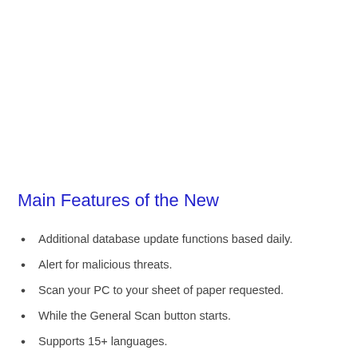Main Features of the New
Additional database update functions based daily.
Alert for malicious threats.
Scan your PC to your sheet of paper requested.
While the General Scan button starts.
Supports 15+ languages.
Work with other programs of care system plugins.
Various improvements to the Chameleon self-protection